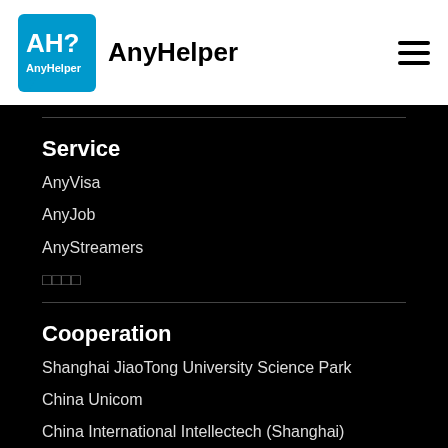AnyHelper
Service
AnyVisa
AnyJob
AnyStreamers
□□□□
Cooperation
Shanghai JiaoTong University Science Park
China Unicom
China International Intellectech (Shanghai)